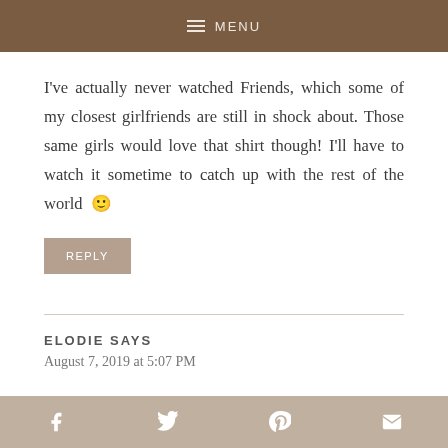MENU
I've actually never watched Friends, which some of my closest girlfriends are still in shock about. Those same girls would love that shirt though! I'll have to watch it sometime to catch up with the rest of the world 🙂
REPLY
ELODIE SAYS
August 7, 2019 at 5:07 PM
Social share icons: Facebook, Twitter, Pinterest, Email